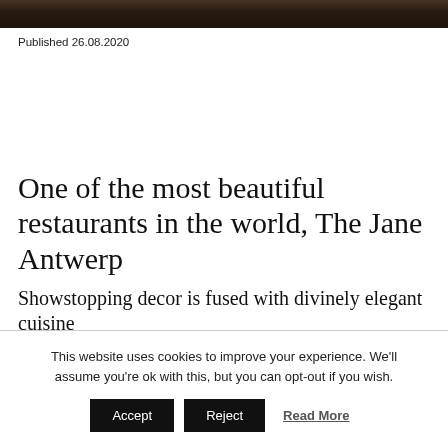[Figure (photo): Photograph of a restaurant interior, dark tones, showing tables and people dining]
Published 26.08.2020
One of the most beautiful restaurants in the world, The Jane Antwerp
Showstopping decor is fused with divinely elegant cuisine
This website uses cookies to improve your experience. We'll assume you're ok with this, but you can opt-out if you wish.
Accept | Reject | Read More